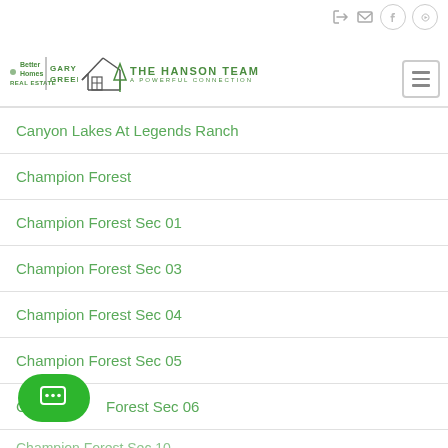[Figure (logo): Better Homes Gary Greene and The Hanson Team logo with house icon]
Canyon Lakes At Legends Ranch
Champion Forest
Champion Forest Sec 01
Champion Forest Sec 03
Champion Forest Sec 04
Champion Forest Sec 05
Champion Forest Sec 06
Champion Forest Sec 10